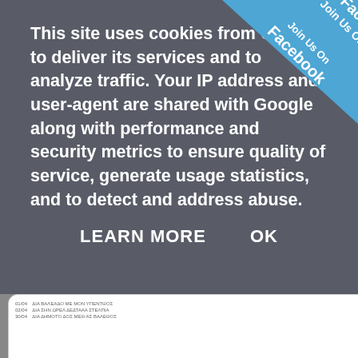[Figure (screenshot): Cookie consent overlay on a Greek webpage. Gray semi-transparent overlay covering top portion of page. Contains bold white text about Google cookies and site traffic analysis. Two buttons: LEARN MORE and OK. Top-right corner has a blue 'Join Us On Facebook' ribbon banner. Bottom portion shows a white card with a CV document image and Greek text, partially visible. Another card shows 'ΧΡΗΣΙΜΟΙ ΣΥΝΔΕΣΜΟΙ' (Useful Links) in blue bold text with an ΟΑΕΔ button. Right side partially shows Facebook/ΕΘΕΛΟ elements.]
This site uses cookies from Google to deliver its services and to analyze traffic. Your IP address and user-agent are shared with Google along with performance and security metrics to ensure quality of service, generate usage statistics, and to detect and address abuse.
LEARN MORE    OK
ΧΡΗΣΙΜΟΙ ΣΥΝΔΕΣΜΟΙ
ΟΑΕΔ